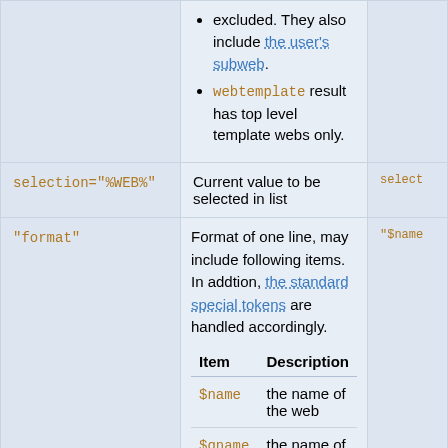[Figure (logo): Document/template icon in grey square]
| Parameter | Description | Default |
| --- | --- | --- |
| (top row partial) | excluded. They also include the user's subweb.
webtemplate result has top level template webs only. | (partial) |
| selection="%WEB%" | Current value to be selected in list | select... |
| "format" | Format of one line, may include following items. In addtion, the standard special tokens are handled accordingly.
[nested table: Item | Description | $name | the name of the web | $qname | the name of the web in double quotes | ...] | "$name..." |